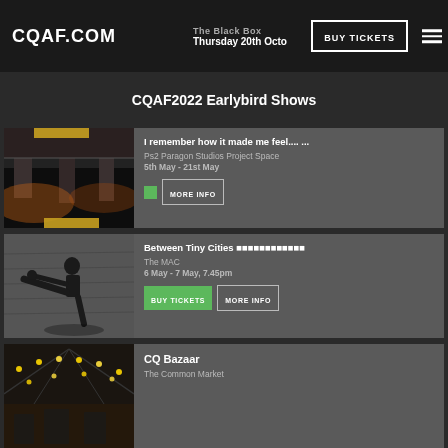CQAF.COM
[Figure (photo): Hero banner with person photo on dark background, venue name 'The Black Box', date 'Thursday 20th October', BUY TICKETS and MORE INFO buttons]
CQAF2022 Earlybird Shows
[Figure (photo): Urban underpass/highway photo with orange lighting]
I remember how it made me feel.... ...
Ps2 Paragon Studios Project Space
5th May - 21st May
[Figure (photo): Martial arts performer mid-kick against concrete wall background]
Between Tiny Cities 語語語語語語語語語語語語
The MAC
6 May - 7 May, 7.45pm
[Figure (photo): Common market interior with string lights]
CQ Bazaar
The Common Market